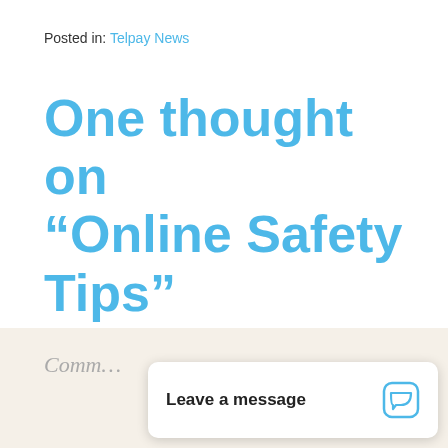Posted in: Telpay News
One thought on “Online Safety Tips”
Pingback: Internet gods! | Telpay Blog
Comm...
Leave a message